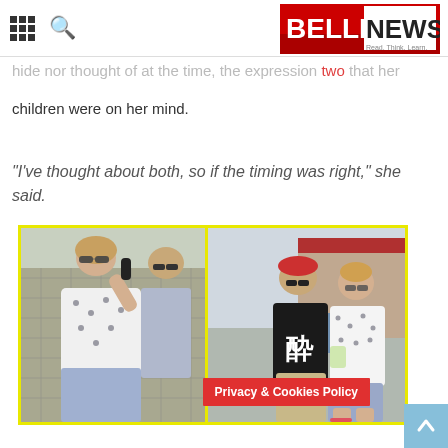BELLENEWS
hide nor thought of at the time, the expression two children were on her mind.
“I’ve thought about both, so if the timing was right,” she said.
[Figure (photo): Two paparazzi photos side by side with yellow border: left photo shows a woman in sunglasses and polka-dot top holding a phone/mic, right photo shows the same woman in sunglasses and polka-dot top walking with a man in a black shirt with Japanese character]
Privacy & Cookies Policy